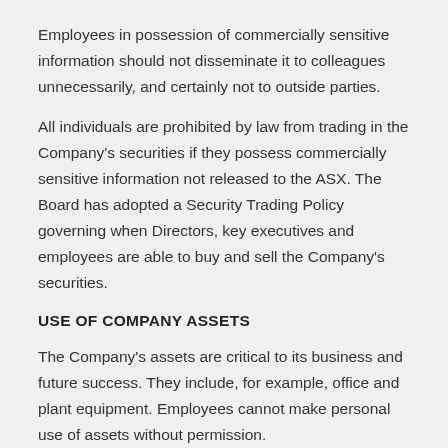Employees in possession of commercially sensitive information should not disseminate it to colleagues unnecessarily, and certainly not to outside parties.
All individuals are prohibited by law from trading in the Company's securities if they possess commercially sensitive information not released to the ASX. The Board has adopted a Security Trading Policy governing when Directors, key executives and employees are able to buy and sell the Company's securities.
USE OF COMPANY ASSETS
The Company's assets are critical to its business and future success. They include, for example, office and plant equipment. Employees cannot make personal use of assets without permission.
There will be no unreasonable expenditure on benefits such as gifts or entertainment for employees or outside